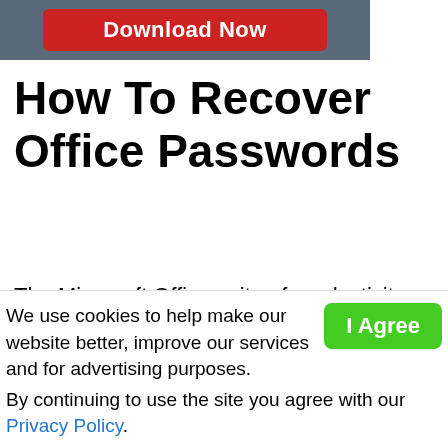[Figure (screenshot): Dark grey banner with a red Download Now button]
How To Recover Office Passwords
The Microsoft Office suite of productivity products is ubiquitous in all levels of business and home use. Offering spreadsheet, database, word processing, contact management, scheduling, printed materials preparation,
We use cookies to help make our website better, improve our services and for advertising purposes.
By continuing to use the site you agree with our Privacy Policy.